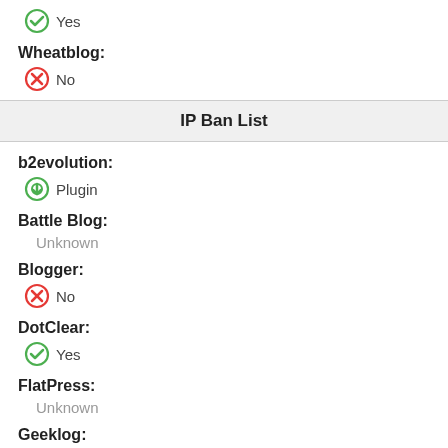Yes
Wheatblog:
No
IP Ban List
b2evolution:
Plugin
Battle Blog:
Unknown
Blogger:
No
DotClear:
Yes
FlatPress:
Unknown
Geeklog: